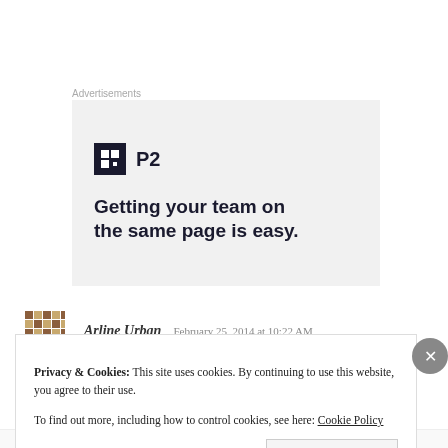Advertisements
[Figure (infographic): P2 advertisement banner with dark square logo icon and tagline 'Getting your team on the same page is easy.']
Arline Urban   February 25, 2014 at 10:22 AM
Privacy & Cookies: This site uses cookies. By continuing to use this website, you agree to their use.
To find out more, including how to control cookies, see here: Cookie Policy
Close and accept